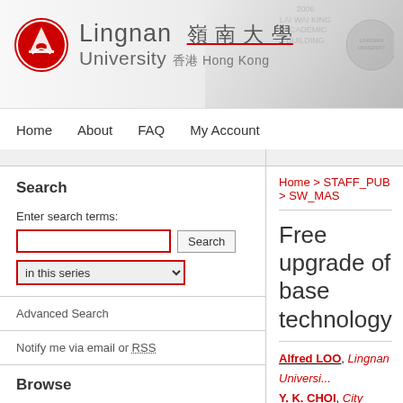[Figure (logo): Lingnan University logo with red circular emblem and text in English and Chinese]
Home   About   FAQ   My Account
Search
Enter search terms:
in this series
Advanced Search
Notify me via email or RSS
Browse
Collections
Disciplines
Authors
Home > STAFF_PUB > SW_MAS
Free upgrade of base technology
Alfred LOO, Lingnan Universi...
Y. K. CHOI, City University of H...
Chris BLEOO, University of...